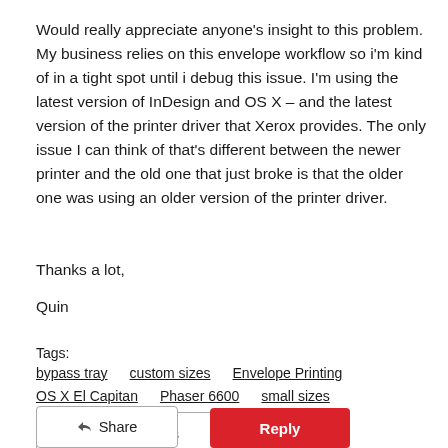Would really appreciate anyone's insight to this problem. My business relies on this envelope workflow so i'm kind of in a tight spot until i debug this issue. I'm using the latest version of InDesign and OS X – and the latest version of the printer driver that Xerox provides. The only issue I can think of that's different between the newer printer and the old one that just broke is that the older one was using an older version of the printer driver.
Thanks a lot,
Quin
Tags:
bypass tray
custom sizes
Envelope Printing
OS X El Capitan
Phaser 6600
small sizes
0 Kudos
Share
Reply